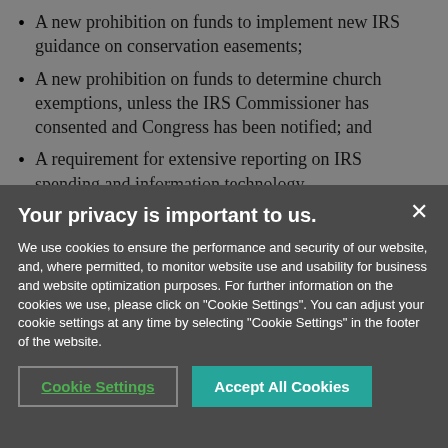A new prohibition on funds to implement new IRS guidance on conservation easements;
A new prohibition on funds to determine church exemptions, unless the IRS Commissioner has consented and Congress has been notified; and
A requirement for extensive reporting on IRS spending and information technology.
Your privacy is important to us.
We use cookies to ensure the performance and security of our website, and, where permitted, to monitor website use and usability for business and website optimization purposes. For further information on the cookies we use, please click on "Cookie Settings". You can adjust your cookie settings at any time by selecting "Cookie Settings" in the footer of the website.
Cookie Settings | Accept All Cookies